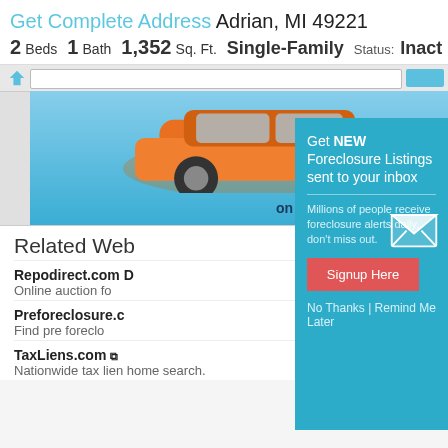Get Complete Address Adrian, MI 49221
2 Beds  1 Bath  1,352 Sq. Ft.  Single-Family  Status: Inact
[Figure (screenshot): Advertisement banner showing an orange sports car with text 'Save thousands of dollars on repossessed items. Visit Today' on a blue gradient background]
[Figure (screenshot): Popup modal on teal background: 'Get NEW Foreclosure Listings sent to your inbox' with description 'Millions of people receive foreclosure alerts daily, don't miss out.' and a red 'Signup Here' button, mail icon, and 'No Thanks | Remind Me Later' link]
Related Web
Repodirect.com
Online auction fo
Preforeclosure.c
Find pre foreclo
TaxLiens.com
Nationwide tax lien home search.